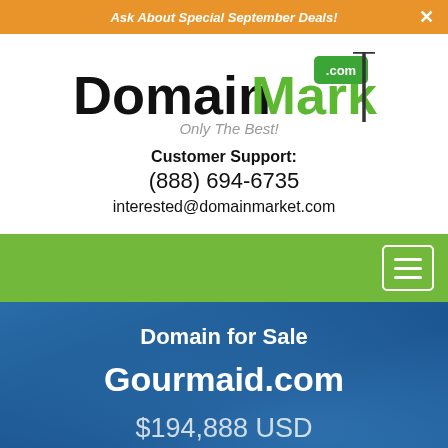Ask About Special September Deals!
[Figure (logo): DomainMarket.com logo with green .com badge and real estate sign icon, with tagline Only The Best!]
Customer Support:
(888) 694-6735
interested@domainmarket.com
[Figure (other): Green navigation bar with hamburger menu button on right]
Domain for Sale
Gourmaid.com
$194,888 USD